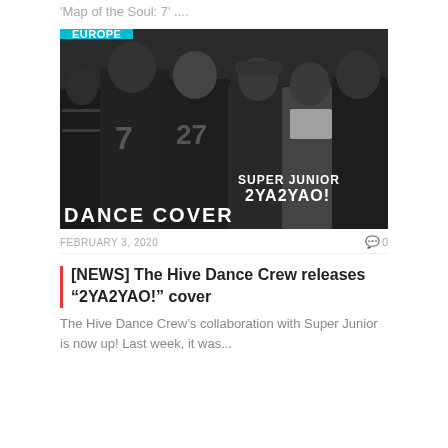'Map of the Soul: 7' ....
[Figure (photo): Black and white group photo of The Hive Dance Crew with Super Junior 2YA2YAO! Dance Cover text overlay and EUROPE badge]
FEBRUARY 3, 2020
0
[NEWS] The Hive Dance Crew releases “2YA2YAO!” cover
The Hive Dance Crew’s collaboration with Super Junior is now up! Last week, it was...